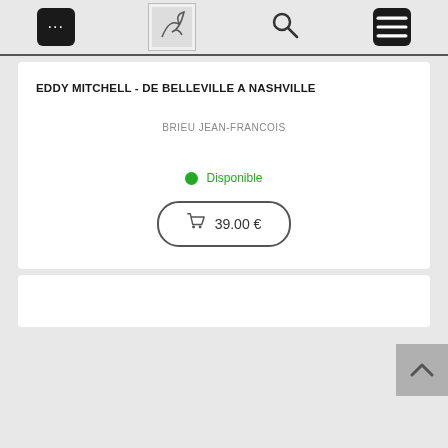Navigation bar with menu, logo, search, and hamburger icons
EDDY MITCHELL - DE BELLEVILLE A NASHVILLE
BRIEU JEAN-FRANCOIS
● Disponible
🛒 39.00 €